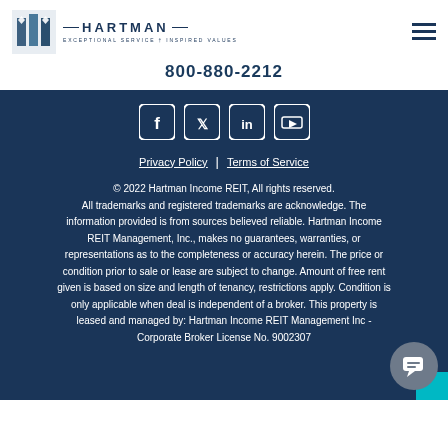Hartman — EXCEPTIONAL SERVICE † INSPIRED VALUES
800-880-2212
[Figure (other): Social media icons row: Facebook, Twitter, LinkedIn, YouTube]
Privacy Policy | Terms of Service
© 2022 Hartman Income REIT, All rights reserved. All trademarks and registered trademarks are acknowledge. The information provided is from sources believed reliable. Hartman Income REIT Management, Inc., makes no guarantees, warranties, or representations as to the completeness or accuracy herein. The price or condition prior to sale or lease are subject to change. Amount of free rent given is based on size and length of tenancy, restrictions apply. Condition is only applicable when deal is independent of a broker. This property is leased and managed by: Hartman Income REIT Management Inc - Corporate Broker License No. 9002307